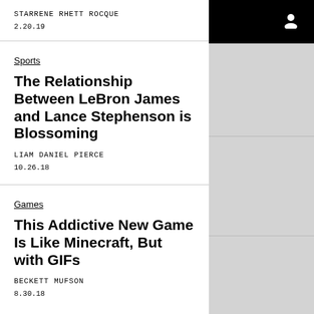VICE
STARRENE RHETT ROCQUE
2.20.19
Sports
The Relationship Between LeBron James and Lance Stephenson is Blossoming
LIAM DANIEL PIERCE
10.26.18
Games
This Addictive New Game Is Like Minecraft, But with GIFs
BECKETT MUFSON
8.30.18